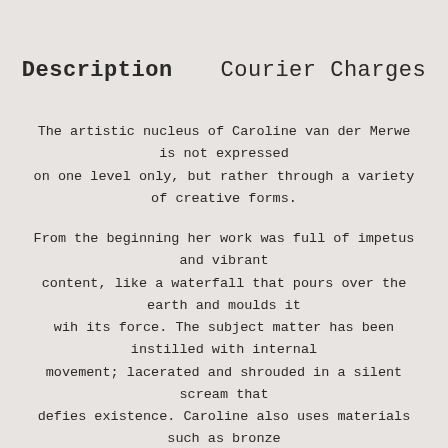Description   Courier Charges
The artistic nucleus of Caroline van der Merwe is not expressed on one level only, but rather through a variety of creative forms.
From the beginning her work was full of impetus and vibrant content, like a waterfall that pours over the earth and moulds it wih its force. The subject matter has been instilled with internal movement; lacerated and shrouded in a silent scream that defies existence. Caroline also uses materials such as bronze and clay that have united their characteristics with expressive tension, resulting in an extraordinary fusion between concept and material.
Looking at her work today we find instead, within the fullness of the forms, the peace that accompanies a river that flows into a